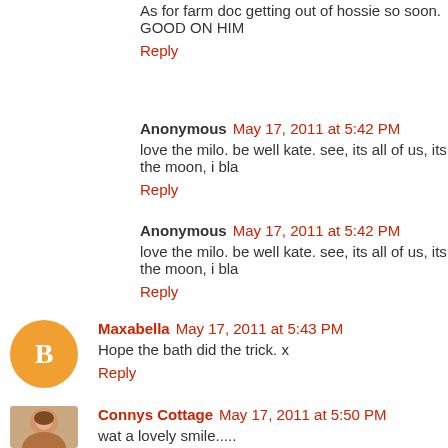As for farm doc getting out of hossie so soon. GOOD ON HIM
Reply
Anonymous May 17, 2011 at 5:42 PM
love the milo. be well kate. see, its all of us, its the moon, i bla
Reply
Anonymous May 17, 2011 at 5:42 PM
love the milo. be well kate. see, its all of us, its the moon, i bla
Reply
Maxabella May 17, 2011 at 5:43 PM
Hope the bath did the trick. x
Reply
Connys Cottage May 17, 2011 at 5:50 PM
wat a lovely smile.....